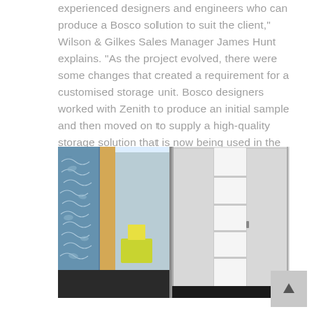experienced designers and engineers who can produce a Bosco solution to suit the client," Wilson & Gilkes Sales Manager James Hunt explains. "As the project evolved, there were some changes that created a requirement for a customised storage unit. Bosco designers worked with Zenith to produce an initial sample and then moved on to supply a high-quality storage solution that is now being used in the outstanding new RAH facility."
[Figure (photo): Two-panel photo: left panel shows a colorful interior space with decorative glass partition featuring wave/fish patterns in blue and green, with yellow furniture visible; right panel shows an open white storage cabinet/cupboard with multiple shelves inside.]